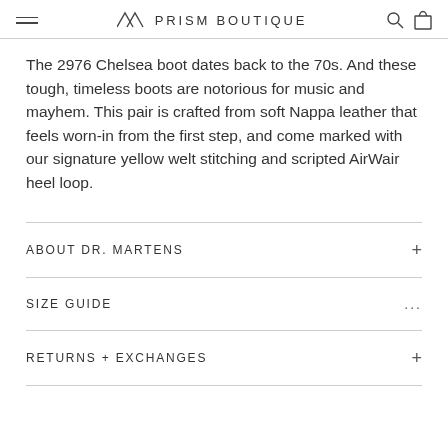≡ ⋀⋀ PRISM BOUTIQUE 🔍 🛍
The 2976 Chelsea boot dates back to the 70s. And these tough, timeless boots are notorious for music and mayhem. This pair is crafted from soft Nappa leather that feels worn-in from the first step, and come marked with our signature yellow welt stitching and scripted AirWair heel loop.
ABOUT DR. MARTENS
SIZE GUIDE
RETURNS + EXCHANGES